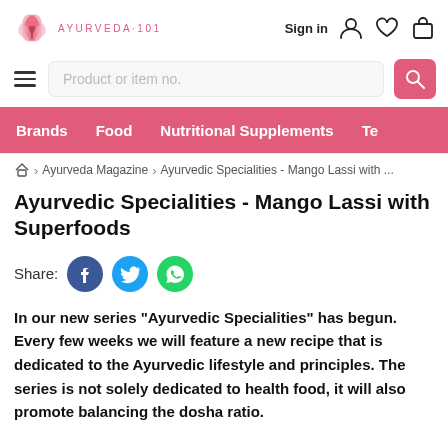[Figure (logo): Ayurveda 101 website header with lotus flower logo, search bar, sign in and icons, navigation bar with Brands, Food, Nutritional Supplements]
⌂ > Ayurveda Magazine > Ayurvedic Specialities - Mango Lassi with ...
Ayurvedic Specialities - Mango Lassi with Superfoods
Share: [Facebook] [Twitter] [WhatsApp]
In our new series "Ayurvedic Specialities" has begun. Every few weeks we will feature a new recipe that is dedicated to the Ayurvedic lifestyle and principles. The series is not solely dedicated to health food, it will also promote balancing the dosha ratio.